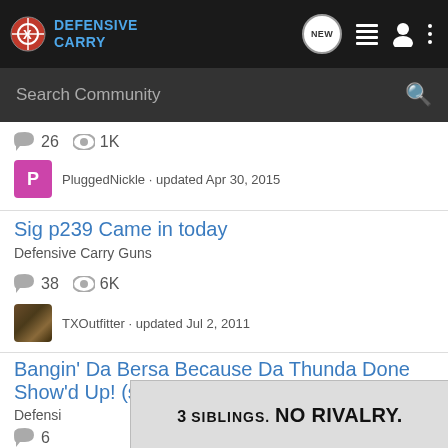Defensive Carry — navigation bar with logo, NEW, list, user, and menu icons
Search Community
26  1K
PluggedNickle · updated Apr 30, 2015
Sig p239 Came in today
Defensive Carry Guns
38  6K
TXOutfitter · updated Jul 2, 2011
Bangin' Da Bersa Because Da Thunda Done Show'd Up! (so, I got a new gun...)
Defensi
6
[Figure (infographic): Advertisement banner reading '3 SIBLINGS. NO RIVALRY.' in bold black text on light gray background]